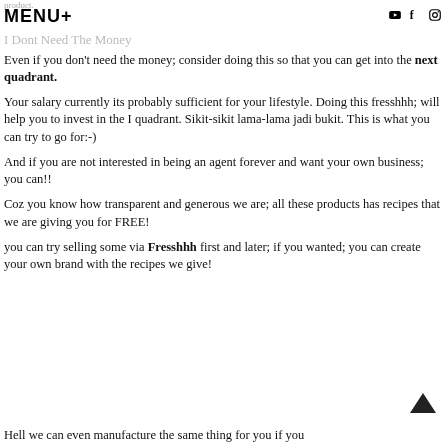product. MENU+
I Dont Need The Money
Even if you don't need the money; consider doing this so that you can get into the next quadrant.
Your salary currently its probably sufficient for your lifestyle. Doing this fresshhh; will help you to invest in the I quadrant. Sikit-sikit lama-lama jadi bukit. This is what you can try to go for:-)
And if you are not interested in being an agent forever and want your own business; you can!!
Coz you know how transparent and generous we are; all these products has recipes that we are giving you for FREE!
you can try selling some via Fresshhh first and later; if you wanted; you can create your own brand with the recipes we give!
Hell we can even manufacture the same thing for you if you